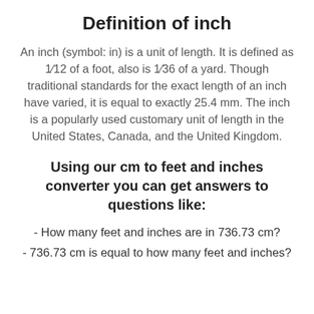Definition of inch
An inch (symbol: in) is a unit of length. It is defined as 1⁂12 of a foot, also is 1⁂36 of a yard. Though traditional standards for the exact length of an inch have varied, it is equal to exactly 25.4 mm. The inch is a popularly used customary unit of length in the United States, Canada, and the United Kingdom.
Using our cm to feet and inches converter you can get answers to questions like:
- How many feet and inches are in 736.73 cm?
- 736.73 cm is equal to how many feet and inches?